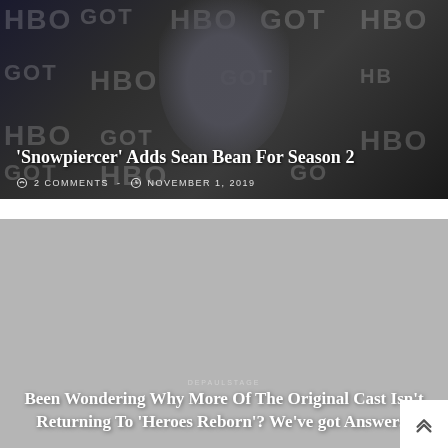[Figure (photo): Sean Bean at HBO Game of Thrones premiere, standing in dark suit against HBO/GOT branded backdrop]
'Snowpiercer' Adds Sean Bean For Season 2
2 COMMENTS - NOVEMBER 1, 2019
[Figure (photo): Gray placeholder image for second article]
Been Wondering Why More Of The Original Cast Isn't Returning To 'Heroes Reborn'? We've got Answers!